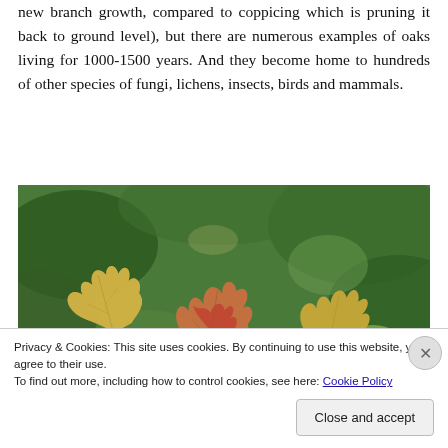new branch growth, compared to coppicing which is pruning it back to ground level), but there are numerous examples of oaks living for 1000-1500 years. And they become home to hundreds of other species of fungi, lichens, insects, birds and mammals.
[Figure (photo): Close-up photograph of young oak leaves in autumn colors (orange, red, yellow) against a blurred green background of larger oak leaves.]
Privacy & Cookies: This site uses cookies. By continuing to use this website, you agree to their use.
To find out more, including how to control cookies, see here: Cookie Policy